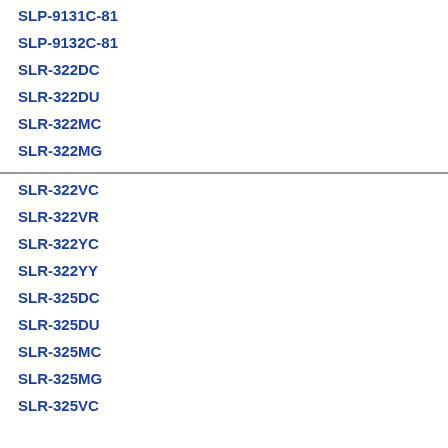SLP-9131C-81
SLP-9132C-81
SLR-322DC
SLR-322DU
SLR-322MC
SLR-322MG
SLR-322VC
SLR-322VR
SLR-322YC
SLR-322YY
SLR-325DC
SLR-325DU
SLR-325MC
SLR-325MG
SLR-325VC